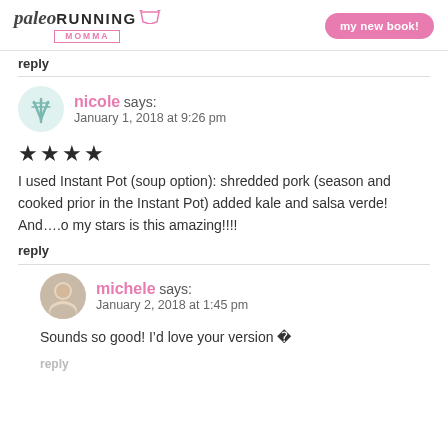paleo RUNNING MOMMA | my new book!
reply
nicole says: January 1, 2018 at 9:26 pm
[Figure (other): 4 star rating (filled stars)]
I used Instant Pot (soup option): shredded pork (season and cooked prior in the Instant Pot) added kale and salsa verde! And….o my stars is this amazing!!!!
reply
michele says: January 2, 2018 at 1:45 pm
Sounds so good! I’d love your version �
reply